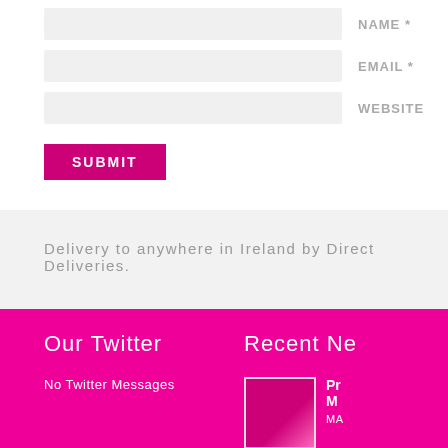NAME *
EMAIL *
WEBSITE
SUBMIT
Delivery to anywhere in Ireland by Direct Deliveries.
Our Twitter
No Twitter Messages
Recent Ne
[Figure (photo): Small thumbnail image for recent news item]
Pr M MA